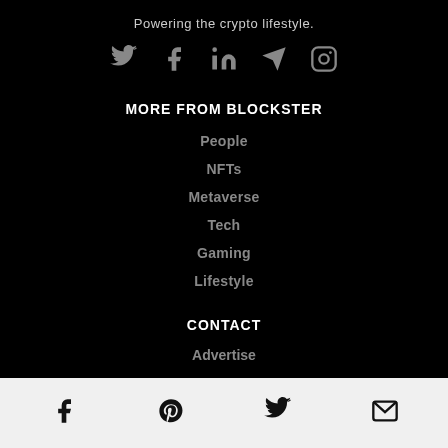Powering the crypto lifestyle.
[Figure (illustration): Social media icons row: Twitter, Facebook, LinkedIn, Telegram, Instagram — gray on black background]
MORE FROM BLOCKSTER
People
NFTs
Metaverse
Tech
Gaming
Lifestyle
CONTACT
Advertise
[Figure (illustration): Footer bar with social icons: Facebook, Pinterest, Twitter, Email — black on light gray background]